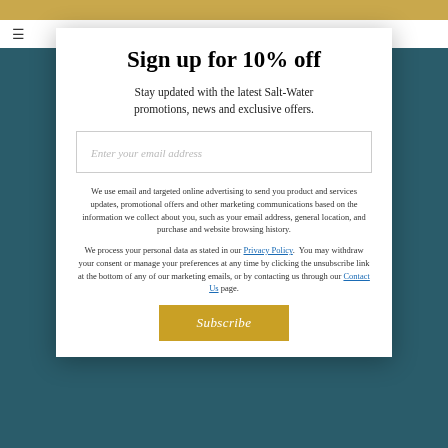Sign up for 10% off
Stay updated with the latest Salt-Water promotions, news and exclusive offers.
Enter your email address
We use email and targeted online advertising to send you product and services updates, promotional offers and other marketing communications based on the information we collect about you, such as your email address, general location, and purchase and website browsing history.
We process your personal data as stated in our Privacy Policy.  You may withdraw your consent or manage your preferences at any time by clicking the unsubscribe link at the bottom of any of our marketing emails, or by contacting us through our Contact Us page.
Subscribe